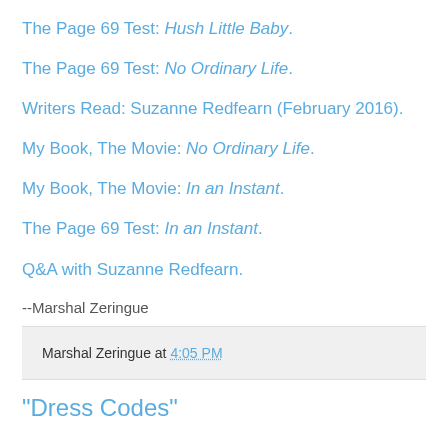The Page 69 Test: Hush Little Baby.
The Page 69 Test: No Ordinary Life.
Writers Read: Suzanne Redfearn (February 2016).
My Book, The Movie: No Ordinary Life.
My Book, The Movie: In an Instant.
The Page 69 Test: In an Instant.
Q&A with Suzanne Redfearn.
--Marshal Zeringue
Marshal Zeringue at 4:05 PM
"Dress Codes"